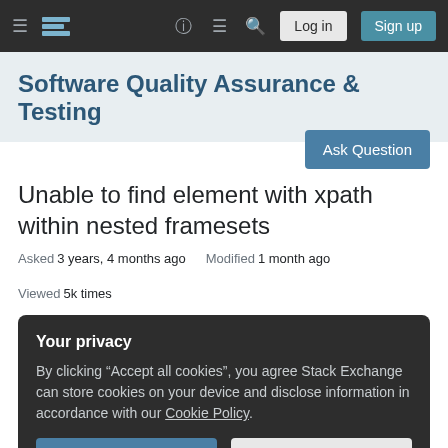Software Quality Assurance & Testing — Stack Exchange navigation bar with Log in and Sign up buttons
Software Quality Assurance & Testing
Unable to find element with xpath within nested framesets
Asked 3 years, 4 months ago  Modified 1 month ago  Viewed 5k times
Your privacy
By clicking "Accept all cookies", you agree Stack Exchange can store cookies on your device and disclose information in accordance with our Cookie Policy.
Accept all cookies   Customize settings
<th class="open" id="integer">